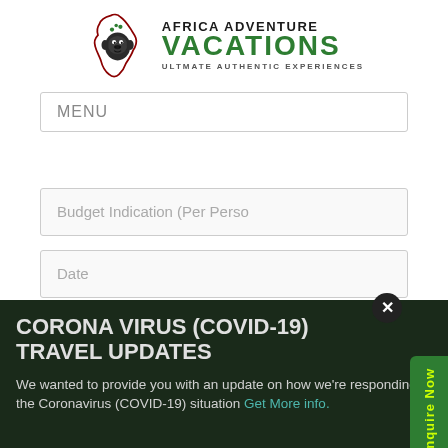[Figure (logo): Africa Adventure Vacations logo with Africa continent outline containing gorilla face illustration, company name in dark red/maroon and green, tagline ULTMATE AUTHENTIC EXPERIENCES]
MENU
Budget Indication (Per Perso
Date
Inquire Now
CORONA VIRUS (COVID-19) TRAVEL UPDATES
We wanted to provide you with an update on how we're responding to the Coronavirus (COVID-19) situation Get More info.